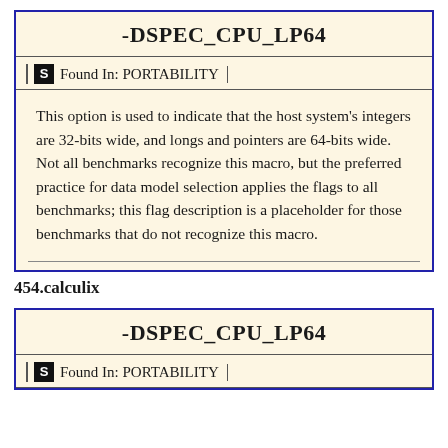-DSPEC_CPU_LP64
Found In: PORTABILITY
This option is used to indicate that the host system's integers are 32-bits wide, and longs and pointers are 64-bits wide. Not all benchmarks recognize this macro, but the preferred practice for data model selection applies the flags to all benchmarks; this flag description is a placeholder for those benchmarks that do not recognize this macro.
454.calculix
-DSPEC_CPU_LP64
Found In: PORTABILITY